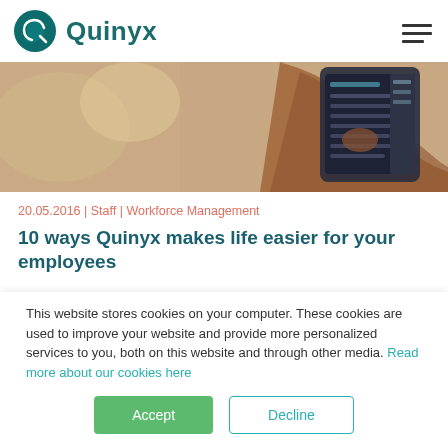[Figure (logo): Quinyx company logo with teal leaf/circle icon and 'Quinyx' wordmark in teal]
[Figure (photo): A hand holding a smartphone showing a dark mobile app interface, blurred background]
20.05.2016 | Staff | Workforce Management
10 ways Quinyx makes life easier for your employees
This website stores cookies on your computer. These cookies are used to improve your website and provide more personalized services to you, both on this website and through other media. Read more about our cookies here